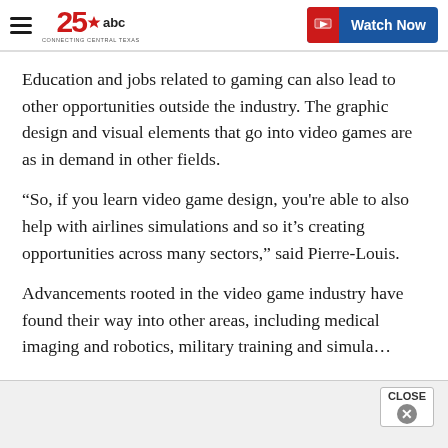25 abc — Connecting Central Texas | Watch Now
Education and jobs related to gaming can also lead to other opportunities outside the industry. The graphic design and visual elements that go into video games are as in demand in other fields.
“So, if you learn video game design, you're able to also help with airlines simulations and so it’s creating opportunities across many sectors,” said Pierre-Louis.
Advancements rooted in the video game industry have found their way into other areas, including medical imaging and robotics, military training and simula…